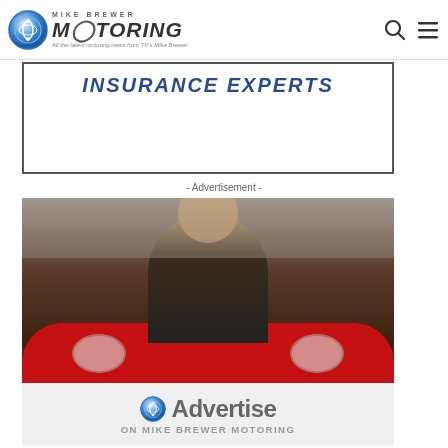Mike Brewer Motoring — All the latest motoring news from TV's Mike Brewer
[Figure (photo): Mike Brewer Motoring website header logo with chrome circle emblem, 'MIKE BREWER' text above 'MOTORING' in large italic font, tagline 'All the latest motoring news from TV's Mike Brewer', search icon and hamburger menu icon on right]
[Figure (photo): Advertisement banner with blue bold italic text 'INSURANCE EXPERTS' on white background with dark border]
- Advertisement -
[Figure (photo): Mike Brewer standing in front of a red classic car in a garage, wearing a dark leather jacket over a plaid shirt, smiling. Below is white band with Mike Brewer Motoring logo, text 'Advertise' in large grey text and 'ON MIKE BREWER MOTORING' beneath.]